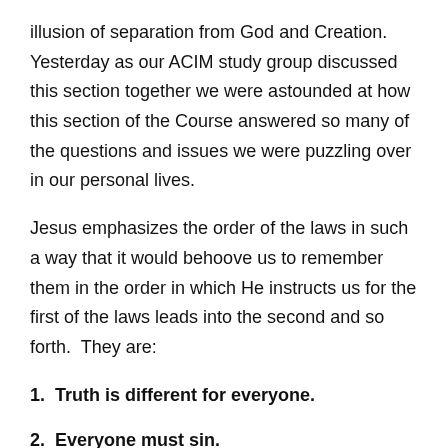illusion of separation from God and Creation.  Yesterday as our ACIM study group discussed this section together we were astounded at how this section of the Course answered so many of the questions and issues we were puzzling over in our personal lives.
Jesus emphasizes the order of the laws in such a way that it would behoove us to remember them in the order in which He instructs us for the first of the laws leads into the second and so forth.  They are:
1.  Truth is different for everyone.
2.  Everyone must sin.
3.  We get to define God as separate from ourselves.
4.  We get to determine what...